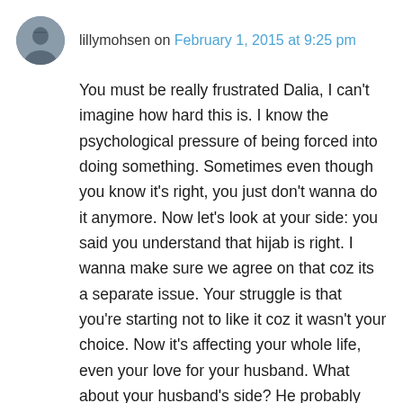lillymohsen on February 1, 2015 at 9:25 pm
You must be really frustrated Dalia, I can't imagine how hard this is. I know the psychological pressure of being forced into doing something. Sometimes even though you know it's right, you just don't wanna do it anymore. Now let's look at your side: you said you understand that hijab is right. I wanna make sure we agree on that coz its a separate issue. Your struggle is that you're starting not to like it coz it wasn't your choice. Now it's affecting your whole life, even your love for your husband. What about your husband's side? He probably feels responsible coz he will be asked about your actions on the day of judgment, and doesn't